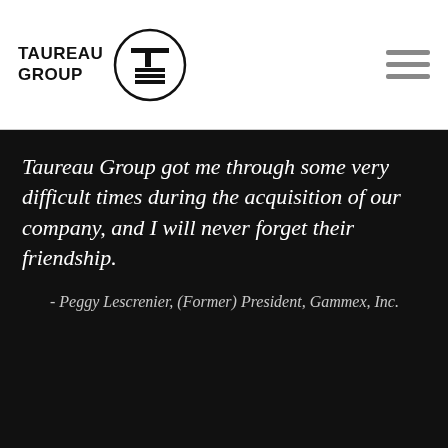TAUREAU GROUP
Taureau Group got me through some very difficult times during the acquisition of our company, and I will never forget their friendship.
- Peggy Lescrenier, (Former) President, Gammex, Inc.